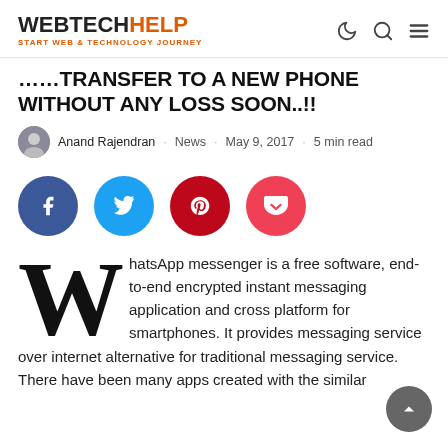WEBTECHHELP - START WEB & TECHNOLOGY JOURNEY
TRANSFER TO A NEW PHONE WITHOUT ANY LOSS SOON..!!
Anand Rajendran · News · May 9, 2017 · 5 min read
[Figure (infographic): Social share buttons: Facebook, Twitter, Pinterest, Pocket]
WhatsApp messenger is a free software, end-to-end encrypted instant messaging application and cross platform for smartphones. It provides messaging service over internet alternative for traditional messaging service. There have been many apps created with the similar